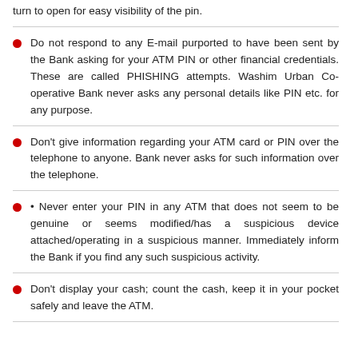turn to open for easy visibility of the pin.
Do not respond to any E-mail purported to have been sent by the Bank asking for your ATM PIN or other financial credentials. These are called PHISHING attempts. Washim Urban Co-operative Bank never asks any personal details like PIN etc. for any purpose.
Don't give information regarding your ATM card or PIN over the telephone to anyone. Bank never asks for such information over the telephone.
• Never enter your PIN in any ATM that does not seem to be genuine or seems modified/has a suspicious device attached/operating in a suspicious manner. Immediately inform the Bank if you find any such suspicious activity.
Don't display your cash; count the cash, keep it in your pocket safely and leave the ATM.